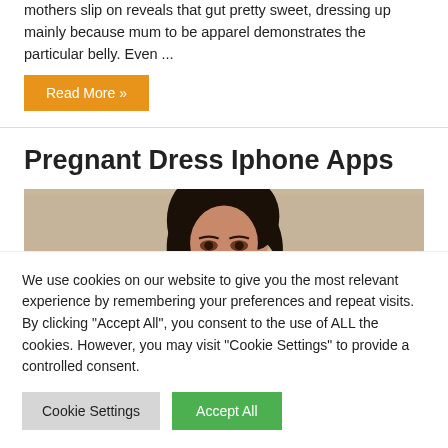mothers slip on reveals that gut pretty sweet, dressing up mainly because mum to be apparel demonstrates the particular belly. Even ...
Read More »
Pregnant Dress Iphone Apps
[Figure (photo): Photo of a dark-haired woman against a beige/tan background, showing head and upper face area]
We use cookies on our website to give you the most relevant experience by remembering your preferences and repeat visits. By clicking "Accept All", you consent to the use of ALL the cookies. However, you may visit "Cookie Settings" to provide a controlled consent.
Cookie Settings
Accept All